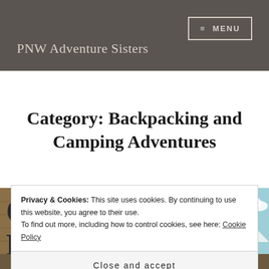PNW Adventure Sisters
Category: Backpacking and Camping Adventures
[Figure (photo): Outdoor photo showing a wooden trail sign reading 'MONTE CRISTO' on the left half, and tall evergreen trees against a blue sky with a mountain in the background on the right half.]
Privacy & Cookies: This site uses cookies. By continuing to use this website, you agree to their use.
To find out more, including how to control cookies, see here: Cookie Policy
Close and accept